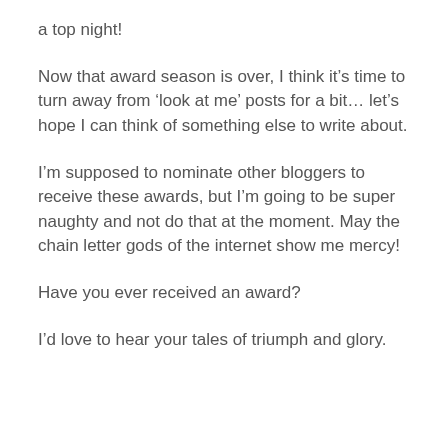a top night!
Now that award season is over, I think it's time to turn away from 'look at me' posts for a bit… let's hope I can think of something else to write about.
I'm supposed to nominate other bloggers to receive these awards, but I'm going to be super naughty and not do that at the moment. May the chain letter gods of the internet show me mercy!
Have you ever received an award?
I'd love to hear your tales of triumph and glory.